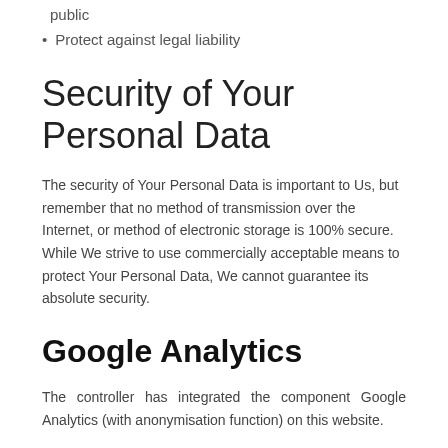public
Protect against legal liability
Security of Your Personal Data
The security of Your Personal Data is important to Us, but remember that no method of transmission over the Internet, or method of electronic storage is 100% secure. While We strive to use commercially acceptable means to protect Your Personal Data, We cannot guarantee its absolute security.
Google Analytics
The controller has integrated the component Google Analytics (with anonymisation function) on this website.
Google Analytics is a web analytics service. Web analysis is the gathering, collection and analysis of data about the behavior of visitors to websites. Among other things, a web analysis service collects data on which website a data subject has come to a